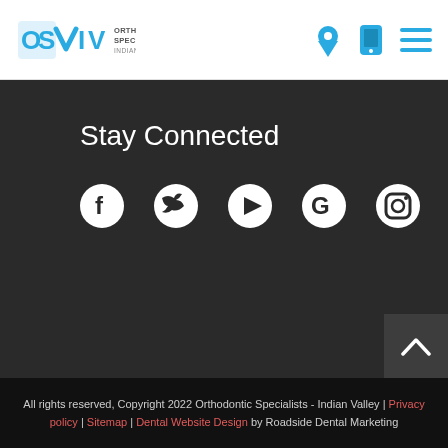[Figure (logo): OSIV Orthodontic Specialists Indian Valley logo with cyan/blue stylized letters and navigation icons (location pin, phone, hamburger menu)]
Stay Connected
[Figure (infographic): Social media icons row: Facebook, Twitter, YouTube, Google, Instagram — white icons on dark background]
All rights reserved, Copyright 2022 Orthodontic Specialists - Indian Valley | Privacy policy | Sitemap | Dental Website Design by Roadside Dental Marketing